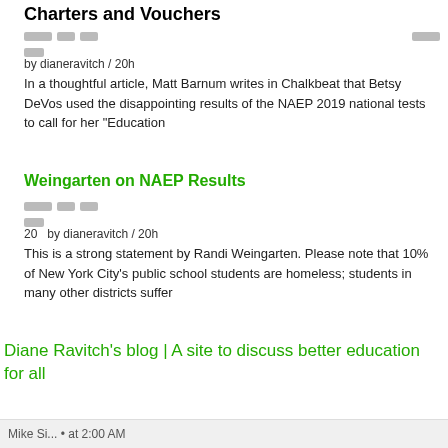Charters and Vouchers
by dianeravitch / 20h
In a thoughtful article, Matt Barnum writes in Chalkbeat that Betsy DeVos used the disappointing results of the NAEP 2019 national tests to call for her "Education
Weingarten on NAEP Results
20   by dianeravitch / 20h
This is a strong statement by Randi Weingarten. Please note that 10% of New York City's public school students are homeless; students in many other districts suffer
Diane Ravitch's blog | A site to discuss better education for all
Mike Si... • at 2:00 AM